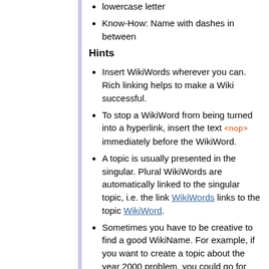lowercase letter
Know-How: Name with dashes in between
Hints
Insert WikiWords wherever you can. Rich linking helps to make a Wiki successful.
To stop a WikiWord from being turned into a hyperlink, insert the text <nop> immediately before the WikiWord.
A topic is usually presented in the singular. Plural WikiWords are automatically linked to the singular topic, i.e. the link WikiWords links to the topic WikiWord.
Sometimes you have to be creative to find a good WikiName. For example, if you want to create a topic about the year 2000 problem, you could go for FixY2K or YearTwoK or YearTwoThousand, but not Year2K or Y2K or Y2000.
Turn acronyms into WikiWords, i.e. take FaqIndex for a "FAQ index" topic.